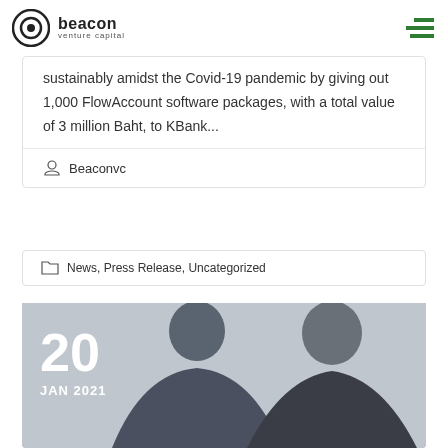beacon venture capital
sustainably amidst the Covid-19 pandemic by giving out 1,000 FlowAccount software packages, with a total value of 3 million Baht, to KBank...
Beaconvc
News, Press Release, Uncategorized
[Figure (photo): Two men posing for a photo with date overlay showing 20 JAN 2021]